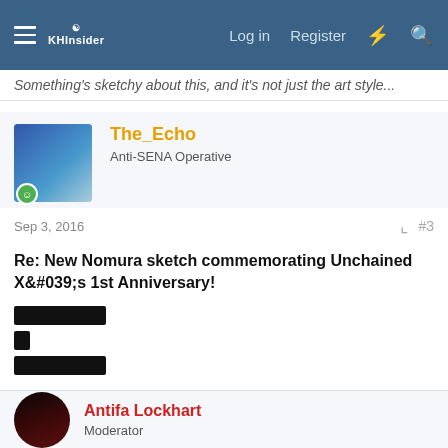KHInsider forum navigation bar with Log in, Register, and search icons
Something's sketchy about this, and it's not just the art style...
The_Echo
Anti-SENA Operative
Sep 3, 2016  #3
Re: New Nomura sketch commemorating Unchained X&#039;s 1st Anniversary!
[Figure (other): Three black redacted/censored text bars]
I wonder why there are a couple of unfinished figures in the sketch
Antifa Lockhart
Moderator